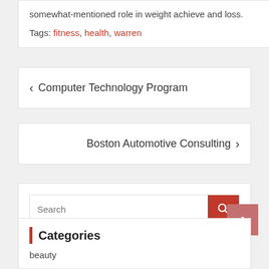somewhat-mentioned role in weight achieve and loss.
Tags: fitness, health, warren
< Computer Technology Program
Boston Automotive Consulting >
Search
Categories
beauty